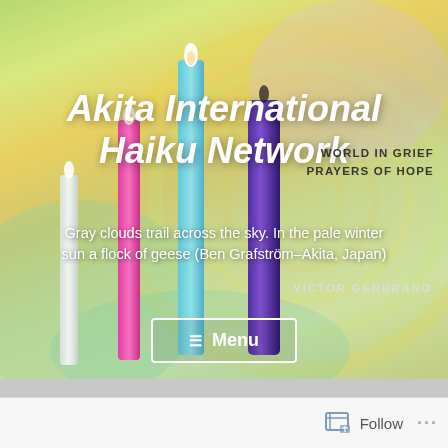[Figure (photo): Website header screenshot for Akita International Haiku Network. A colorful swirling background with concentric circles in yellow, green, and peach tones. Several lit candles — a tall teal/blue candle, a pink/magenta candle, and a purple/dark candle — are in the foreground. The site title 'Akita International Haiku Network' appears in large bold white italic text. A tagline reads: 'Gray clouds trail across the sky. In the pale winter sun a flock of geese (Ben Grafström–Akita, Japan)'. Upper right text reads 'WORLD IN GRIEF PRAYERS OF HOPE'. Lower right reads 'VICTOR GENDRANO'. A menu button with hamburger icon is visible. Below the hero image is a gray divider bar and a white footer bar with Follow button and ellipsis.]
Akita International Haiku Network
Gray clouds trail across the sky. In the pale winter sun a flock of geese (Ben Grafström–Akita, Japan)
WORLD IN GRIEF PRAYERS OF HOPE
VICTOR GENDRANO
☰ Menu
Follow